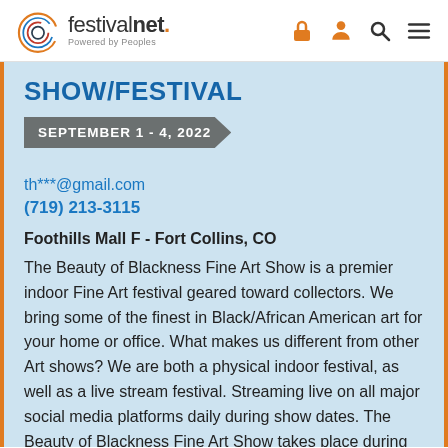festivalnet. Powered by Peoples
SHOW/FESTIVAL
SEPTEMBER 1 - 4, 2022
th***@gmail.com
(719) 213-3115
Foothills Mall F - Fort Collins, CO
The Beauty of Blackness Fine Art Show is a premier indoor Fine Art festival geared toward collectors. We bring some of the finest in Black/African American art for your home or office. What makes us different from other Art shows? We are both a physical indoor festival, as well as a live stream festival. Streaming live on all major social media platforms daily during show dates. The Beauty of Blackness Fine Art Show takes place during Labor Day weekend in